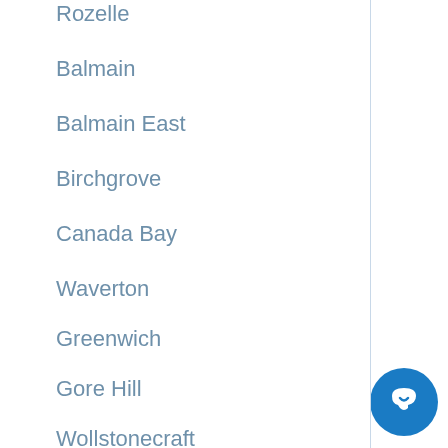Rozelle
Balmain
Balmain East
Birchgrove
Canada Bay
Waverton
Greenwich
Gore Hill
Wollstonecraft
Northwood
Riverview
[Figure (illustration): Blue circular chat button with white speech bubble icon]